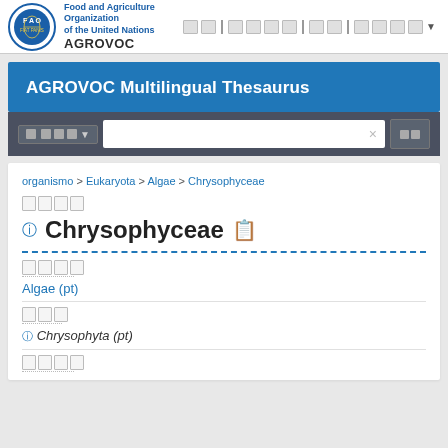Food and Agriculture Organization of the United Nations | AGROVOC
AGROVOC Multilingual Thesaurus
organismo > Eukaryota > Algae > Chrysophyceae
Chrysophyceae
Algae (pt)
Chrysophyta (pt)